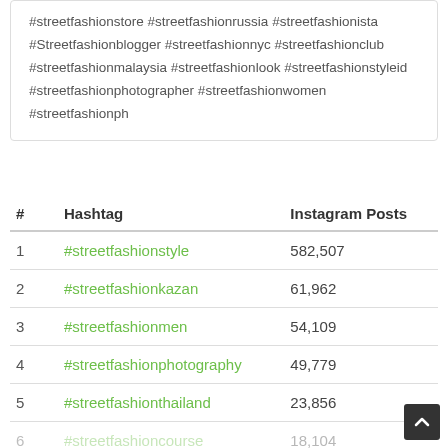#streetfashionstore #streetfashionrussia #streetfashionista #Streetfashionblogger #streetfashionnyc #streetfashionclub #streetfashionmalaysia #streetfashionlook #streetfashionstyleid #streetfashionphotographer #streetfashionwomen #streetfashionph
| # | Hashtag | Instagram Posts |
| --- | --- | --- |
| 1 | #streetfashionstyle | 582,507 |
| 2 | #streetfashionkazan | 61,962 |
| 3 | #streetfashionmen | 54,109 |
| 4 | #streetfashionphotography | 49,779 |
| 5 | #streetfashionthailand | 23,856 |
| 6 | #streetfashioncourse | 18,104 |
| 7 | #streetfashonjpner | 16,649 |